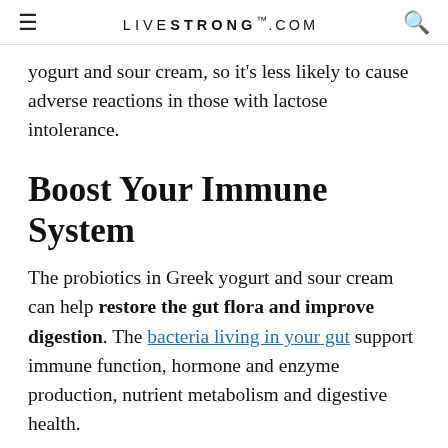LIVESTRONG.COM
yogurt and sour cream, so it's less likely to cause adverse reactions in those with lactose intolerance.
Boost Your Immune System
The probiotics in Greek yogurt and sour cream can help restore the gut flora and improve digestion. The bacteria living in your gut support immune function, hormone and enzyme production, nutrient metabolism and digestive health.
According to a recent study published in the journal Immunity in 2018, microbiota (good gut bacteria) regulates immune function and improves the body's